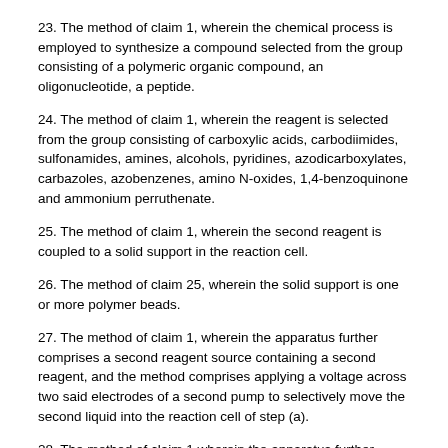23. The method of claim 1, wherein the chemical process is employed to synthesize a compound selected from the group consisting of a polymeric organic compound, an oligonucleotide, a peptide.
24. The method of claim 1, wherein the reagent is selected from the group consisting of carboxylic acids, carbodiimides, sulfonamides, amines, alcohols, pyridines, azodicarboxylates, carbazoles, azobenzenes, amino N-oxides, 1,4-benzoquinone and ammonium perruthenate.
25. The method of claim 1, wherein the second reagent is coupled to a solid support in the reaction cell.
26. The method of claim 25, wherein the solid support is one or more polymer beads.
27. The method of claim 1, wherein the apparatus further comprises a second reagent source containing a second reagent, and the method comprises applying a voltage across two said electrodes of a second pump to selectively move the second liquid into the reaction cell of step (a).
28. The method of claim 1 wherein the apparatus further comprises capillary barriers interposed in the channels to prevent liquid flow into the